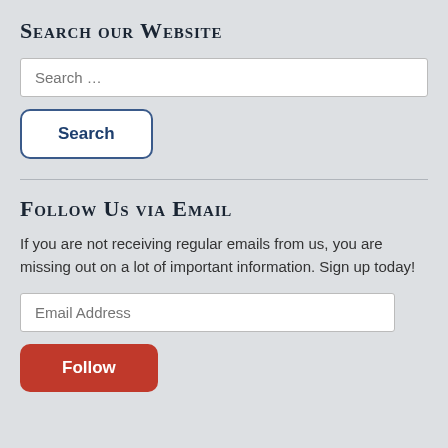Search our Website
[Figure (screenshot): Search input field with placeholder text 'Search …']
[Figure (screenshot): Search button with label 'Search']
Follow Us via Email
If you are not receiving regular emails from us, you are missing out on a lot of important information. Sign up today!
[Figure (screenshot): Email address input field with placeholder 'Email Address']
[Figure (screenshot): Follow button with label 'Follow']